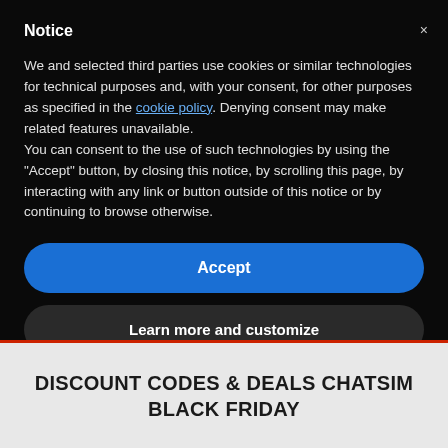Notice
We and selected third parties use cookies or similar technologies for technical purposes and, with your consent, for other purposes as specified in the cookie policy. Denying consent may make related features unavailable.
You can consent to the use of such technologies by using the "Accept" button, by closing this notice, by scrolling this page, by interacting with any link or button outside of this notice or by continuing to browse otherwise.
Accept
Learn more and customize
DISCOUNT CODES & DEALS CHATSIM BLACK FRIDAY